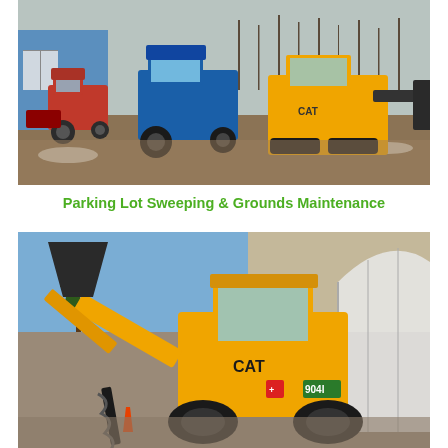[Figure (photo): Three pieces of heavy equipment parked in a dirt lot in front of a blue building. Left: red compact tractor with brush attachment, center: blue New Holland tractor, right: yellow CAT skid steer loader. Bare trees and snow patches visible in background.]
Parking Lot Sweeping & Grounds Maintenance
[Figure (photo): Yellow CAT skid steer loader (model 904I) with an auger drill attachment on the front, parked on a gravel surface. A greenhouse/hoop structure is visible on the right side, and a rocky hillside in the background under a blue sky.]